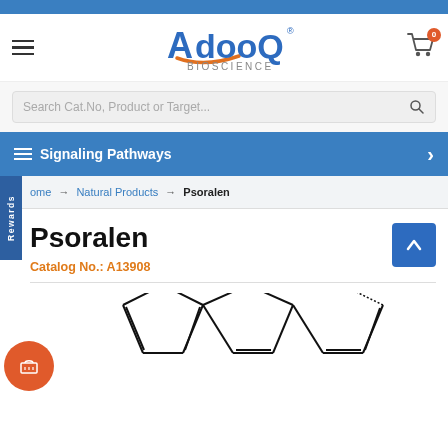[Figure (logo): AdooQ Bioscience logo with orange swoosh under letter A]
Search Cat.No, Product or Target...
Signaling Pathways
Home → Natural Products → Psoralen
Psoralen
Catalog No.: A13908
[Figure (illustration): Partial chemical structure diagram of Psoralen molecule showing fused ring system]